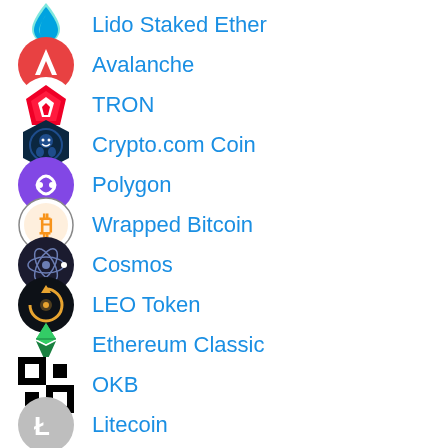Lido Staked Ether
Avalanche
TRON
Crypto.com Coin
Polygon
Wrapped Bitcoin
Cosmos
LEO Token
Ethereum Classic
OKB
Litecoin